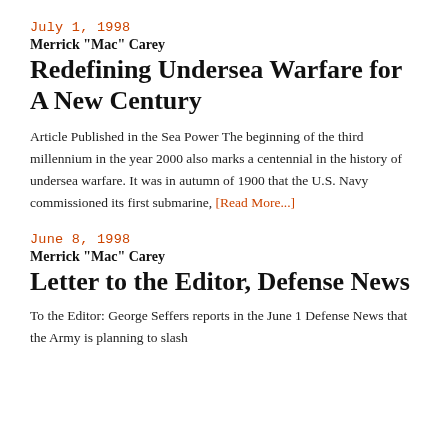July 1, 1998
Merrick "Mac" Carey
Redefining Undersea Warfare for A New Century
Article Published in the Sea Power The beginning of the third millennium in the year 2000 also marks a centennial in the history of undersea warfare. It was in autumn of 1900 that the U.S. Navy commissioned its first submarine, [Read More...]
June 8, 1998
Merrick "Mac" Carey
Letter to the Editor, Defense News
To the Editor: George Seffers reports in the June 1 Defense News that the Army is planning to slash